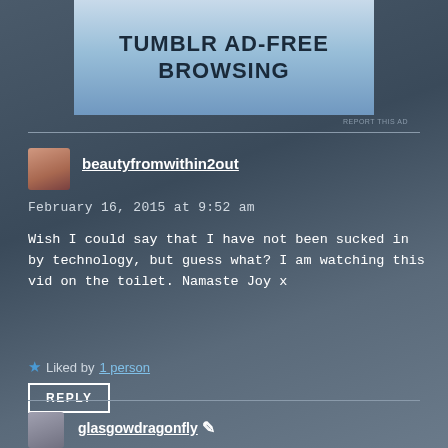[Figure (screenshot): Tumblr ad banner reading 'TUMBLR AD-FREE BROWSING' in bold black text on a blue-grey gradient background]
REPORT THIS AD
beautyfromwithin2out
February 16, 2015 at 9:52 am
Wish I could say that I have not been sucked in by technology, but guess what? I am watching this vid on the toilet. Namaste Joy x
Liked by 1 person
REPLY
glasgowdragonfly